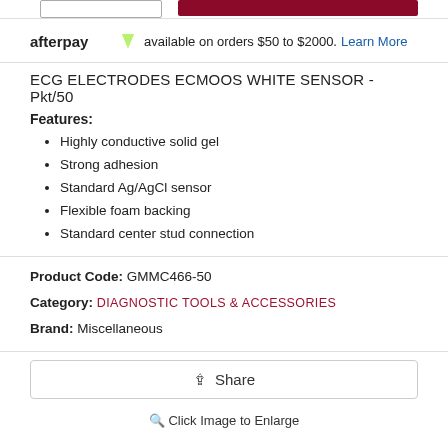afterpay available on orders $50 to $2000. Learn More
ECG ELECTRODES ECMOOS WHITE SENSOR - Pkt/50
Features:
Highly conductive solid gel
Strong adhesion
Standard Ag/AgCl sensor
Flexible foam backing
Standard center stud connection
Product Code: GMMC466-50
Category: DIAGNOSTIC TOOLS & ACCESSORIES
Brand: Miscellaneous
Share
Click Image to Enlarge